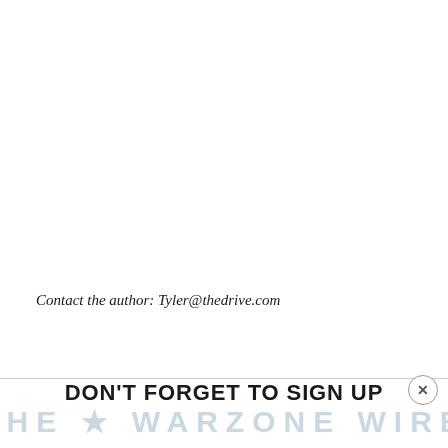Contact the author: Tyler@thedrive.com
DON'T FORGET TO SIGN UP
[Figure (logo): The War Zone Wire watermark logo in light blue/grey at the bottom of the page]